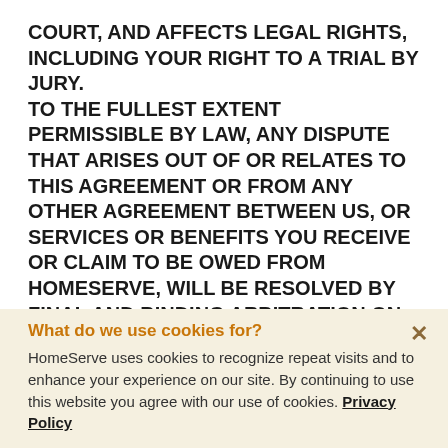COURT, AND AFFECTS LEGAL RIGHTS, INCLUDING YOUR RIGHT TO A TRIAL BY JURY. TO THE FULLEST EXTENT PERMISSIBLE BY LAW, ANY DISPUTE THAT ARISES OUT OF OR RELATES TO THIS AGREEMENT OR FROM ANY OTHER AGREEMENT BETWEEN US, OR SERVICES OR BENEFITS YOU RECEIVE OR CLAIM TO BE OWED FROM HOMESERVE, WILL BE RESOLVED BY FINAL AND BINDING ARBITRATION ON AN INDIVIDUAL BASIS. This arbitration agreement applies to disputes no matter when they arose, including claims that arose before You and HomeServe entered into this Agreement. This arbitration agreement also applies to disputes involving the officers, directors, managers, employees, agents, affiliates, insurers, technicians.
What do we use cookies for? HomeServe uses cookies to recognize repeat visits and to enhance your experience on our site. By continuing to use this website you agree with our use of cookies. Privacy Policy